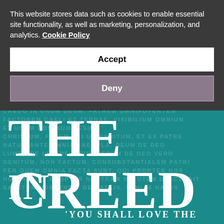This website stores data such as cookies to enable essential site functionality, as well as marketing, personalization, and analytics. Cookie Policy
Accept
Deny
[Figure (illustration): Book cover for 'The Creed' with teal background and overlaid Latin text watermark. Large white serif title text reads 'THE CREED' with partial subtitle beginning 'IN' and tagline "'YOU SHALL LOVE THE" visible at bottom.]